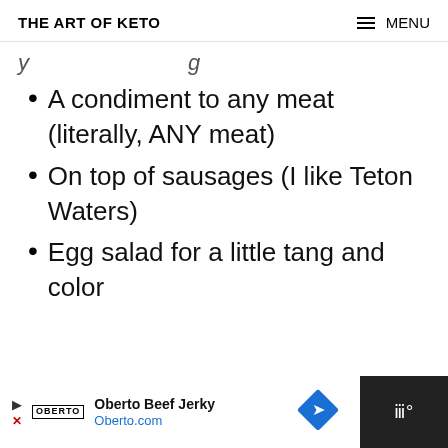THE ART OF KETO | MENU
y ... g
A condiment to any meat (literally, ANY meat)
On top of sausages (I like Teton Waters)
Egg salad for a little tang and color
Oberto Beef Jerky Oberto.com